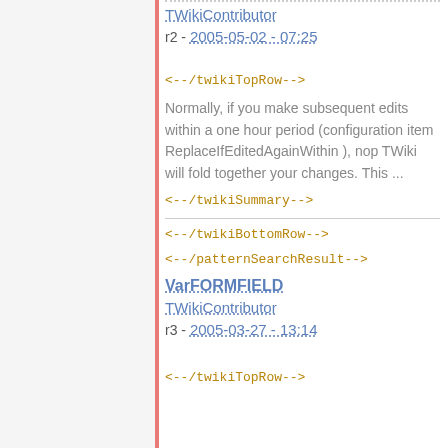TWikiContributor
r2 - 2005-05-02 - 07:25
<!--/twikiTopRow-->
Normally, if you make subsequent edits within a one hour period (configuration item ReplaceIfEditedAgainWithin ), nop TWiki will fold together your changes. This ...
<!--/twikiSummary-->
<!--/twikiBottomRow-->
<!--/patternSearchResult-->
VarFORMFIELD
TWikiContributor
r3 - 2005-03-27 - 13:14
<!--/twikiTopRow-->